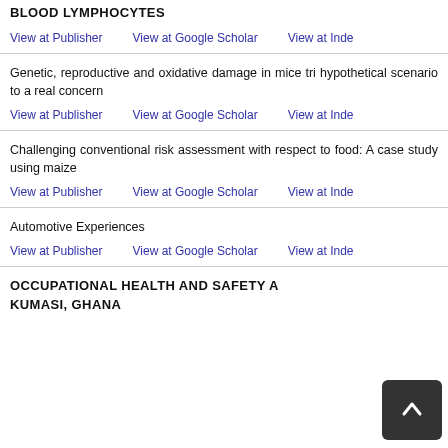BLOOD LYMPHOCYTES
View at Publisher   View at Google Scholar   View at Inde
Genetic, reproductive and oxidative damage in mice tri hypothetical scenario to a real concern
View at Publisher   View at Google Scholar   View at Inde
Challenging conventional risk assessment with respect to food: A case study using maize
View at Publisher   View at Google Scholar   View at Inde
Automotive Experiences
View at Publisher   View at Google Scholar   View at Inde
OCCUPATIONAL HEALTH AND SAFETY A KUMASI, GHANA